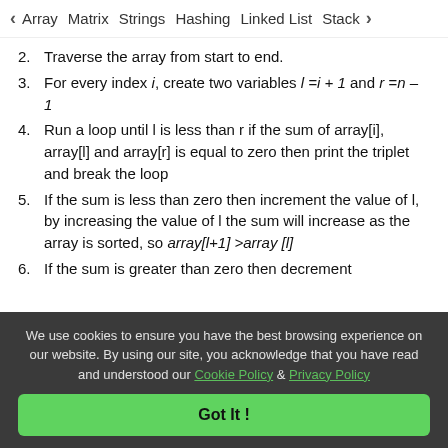◀ Array   Matrix   Strings   Hashing   Linked List   Stack ▶
2. Traverse the array from start to end.
3. For every index i, create two variables l = i + 1 and r = n – 1
4. Run a loop until l is less than r if the sum of array[i], array[l] and array[r] is equal to zero then print the triplet and break the loop
5. If the sum is less than zero then increment the value of l, by increasing the value of l the sum will increase as the array is sorted, so array[l+1] > array[l]
6. If the sum is greater than zero then decrement
We use cookies to ensure you have the best browsing experience on our website. By using our site, you acknowledge that you have read and understood our Cookie Policy & Privacy Policy
Got It !